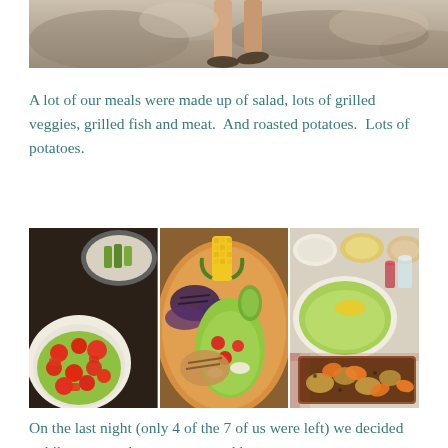[Figure (photo): Partial photo showing the legs/feet of a person standing on what appears to be a sandy or dirt ground, with dappled light/shadow. Only the lower portion of the person is visible.]
A lot of our meals were made up of salad, lots of grilled veggies, grilled fish and meat.  And roasted potatoes.  Lots of potatoes.
[Figure (photo): Three food photos side by side: left shows a salad bowl with chopped red tomatoes and green lettuce with cooking pots visible; center shows a plate with grilled vegetables, corn on the cob, and a salad; right shows multiple dishes including a salad and a roasting pan with roasted potatoes and carrots.]
On the last night (only 4 of the 7 of us were left) we decided to bike to a nearby restaurant and have